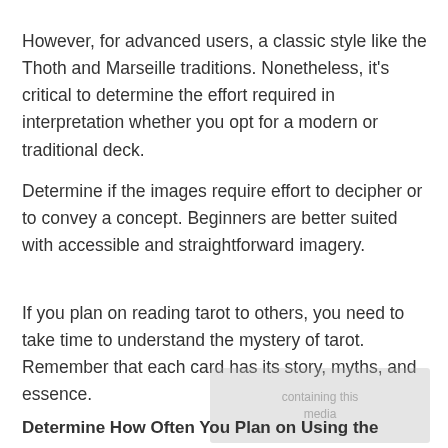However, for advanced users, a classic style like the Thoth and Marseille traditions. Nonetheless, it's critical to determine the effort required in interpretation whether you opt for a modern or traditional deck.
Determine if the images require effort to decipher or to convey a concept. Beginners are better suited with accessible and straightforward imagery.
If you plan on reading tarot to others, you need to take time to understand the mystery of tarot. Remember that each card has its story, myths, and essence.
Determine How Often You Plan on Using the